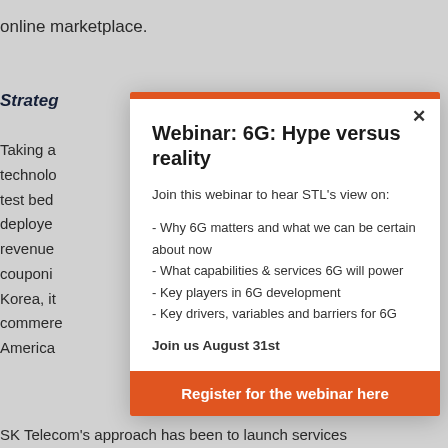online marketplace.
Strateg
Taking a
technolo
test bed
deploye
revenue
couponi
Korea, it
commerce
America
[Figure (screenshot): Modal popup overlay with orange top bar, title 'Webinar: 6G: Hype versus reality', webinar description, bullet points about 6G topics, 'Join us August 31st', and an orange register button]
Webinar: 6G: Hype versus reality
Join this webinar to hear STL's view on:
- Why 6G matters and what we can be certain about now
- What capabilities & services 6G will power
- Key players in 6G development
- Key drivers, variables and barriers for 6G
Join us August 31st
Register for the webinar here
SK Telecom's approach has been to launch services